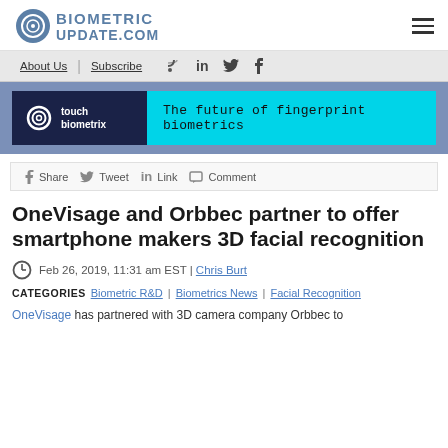BIOMETRIC UPDATE.COM
About Us | Subscribe
[Figure (logo): Touch Biometrix advertisement banner: dark navy left panel with Touch Biometrix logo and name, cyan right panel with text 'The future of fingerprint biometrics']
Share  Tweet  Link  Comment
OneVisage and Orbbec partner to offer smartphone makers 3D facial recognition
Feb 26, 2019, 11:31 am EST | Chris Burt
CATEGORIES  Biometric R&D | Biometrics News | Facial Recognition
OneVisage has partnered with 3D camera company Orbbec to